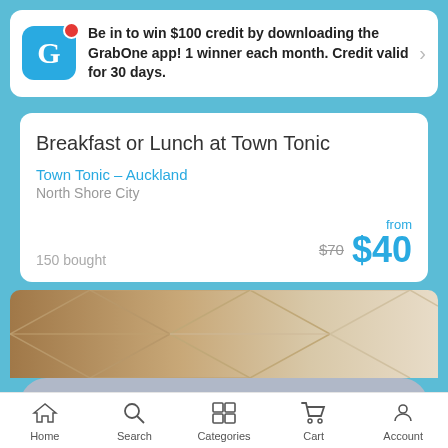Be in to win $100 credit by downloading the GrabOne app! 1 winner each month. Credit valid for 30 days.
Breakfast or Lunch at Town Tonic
Town Tonic – Auckland
North Shore City
150 bought
from $40  $70
[Figure (photo): Interior ceiling photo of a restaurant with geometric ceiling tiles]
No longer available
Home  Search  Categories  Cart  Account